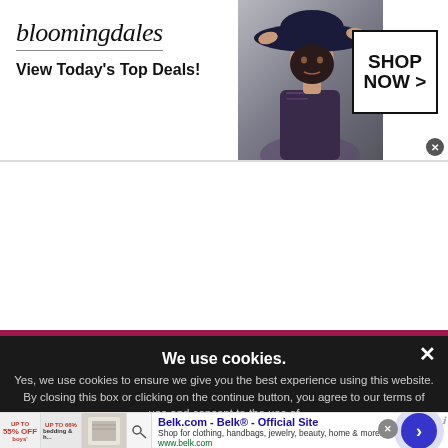[Figure (screenshot): Bloomingdale's banner advertisement with logo text, 'View Today's Top Deals!', a woman in a large hat, and a 'SHOP NOW >' button in a rectangle]
We use cookies.
Yes, we use cookies to ensure we give you the best experience using this website. By closing this box or clicking on the continue button, you agree to our terms of use and consent to the use of
[Figure (screenshot): Belk.com advertisement: 'Belk.com - Belk® - Official Site' with product images, description 'Shop for clothing, handbags, jewelry, beauty, home & more!' and URL www.belk.com, with a blue navigation circle arrow]